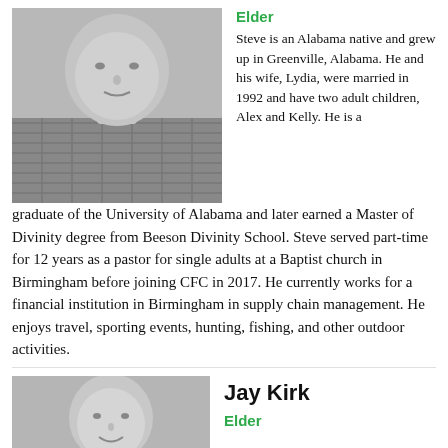[Figure (photo): Grayscale headshot of a middle-aged man in a plaid shirt]
Elder
Steve is an Alabama native and grew up in Greenville, Alabama. He and his wife, Lydia, were married in 1992 and have two adult children, Alex and Kelly. He is a graduate of the University of Alabama and later earned a Master of Divinity degree from Beeson Divinity School. Steve served part-time for 12 years as a pastor for single adults at a Baptist church in Birmingham before joining CFC in 2017. He currently works for a financial institution in Birmingham in supply chain management. He enjoys travel, sporting events, hunting, fishing, and other outdoor activities.
[Figure (photo): Grayscale headshot of a younger man smiling]
Jay Kirk
Elder